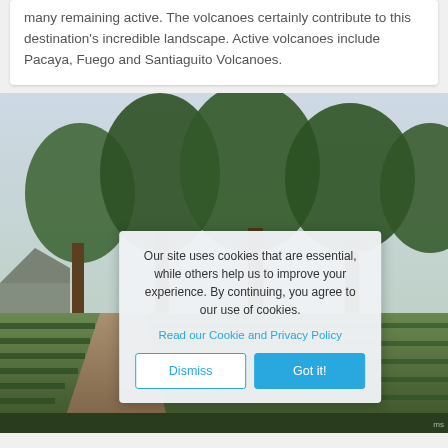many remaining active. The volcanoes certainly contribute to this destination's incredible landscape. Active volcanoes include Pacaya, Fuego and Santiaguito Volcanoes.
[Figure (photo): Outdoor garden or agricultural scene with rows of plants/crops in the foreground, trees with lush green canopies in the mid-ground, and an overcast sky in the background. A dirt path leads through the garden.]
Our site uses cookies that are essential, while others help us to improve your experience. By continuing, you agree to our use of cookies.
Read our Cookie and Privacy Policy
Dismiss
Got it!